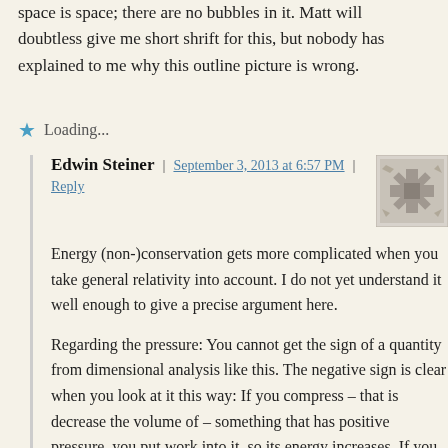space is space; there are no bubbles in it. Matt will doubtless give me short shrift for this, but nobody has explained to me why this outline picture is wrong.
Loading...
Edwin Steiner | September 3, 2013 at 6:57 PM | Reply
Energy (non-)conservation gets more complicated when you take general relativity into account. I do not yet understand it well enough to give a precise argument here.
Regarding the pressure: You cannot get the sign of a quantity from dimensional analysis like this. The negative sign is clear when you look at it this way: If you compress – that is decrease the volume of – something that has positive pressure, you put work into it, so its energy increases. If you decrease the